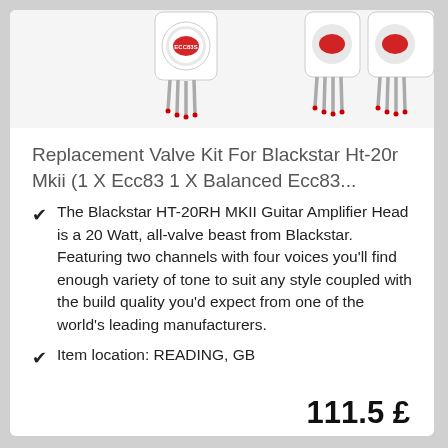[Figure (photo): Partial product images of vacuum tubes (ECC83 valves) with red markings on a white/grey background]
Replacement Valve Kit For Blackstar Ht-20r Mkii (1 X Ecc83 1 X Balanced Ecc83...
The Blackstar HT-20RH MKII Guitar Amplifier Head is a 20 Watt, all-valve beast from Blackstar. Featuring two channels with four voices you'll find enough variety of tone to suit any style coupled with the build quality you'd expect from one of the world's leading manufacturers.
Item location: READING, GB
111.5 £
See details on Ebay